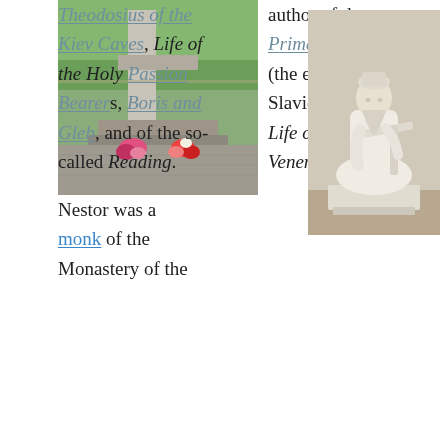[Figure (photo): Photograph of a stone monument or grave with flowers (red and pink) placed at the base, surrounded by trees and a paved area.]
author of the Primary Chronicle, (the earliest East Slavic chronicle), Life of the Venerable
Theodosius of the Kiev Caves, Life of the Holy Passion Bearers, Boris and Gleb, and of the so-called Reading.
Nestor was a monk of the Monastery of the
[Figure (photo): Photograph of a white marble or stone statue of a seated monk or scholar writing at a desk or lectern, wearing religious robes and a hat.]